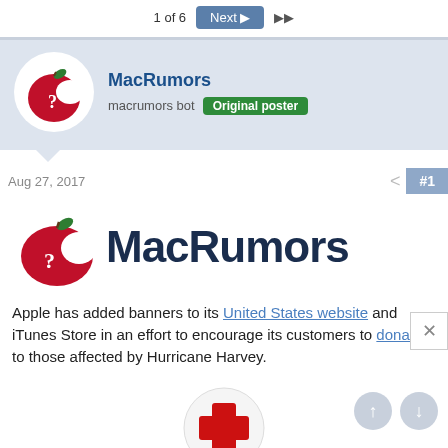1 of 6  Next  ▶▶
MacRumors
macrumors bot  Original poster
Aug 27, 2017
[Figure (logo): MacRumors logo: red apple with bite mark and question mark, with 'MacRumors' text in bold dark navy]
Apple has added banners to its United States website and iTunes Store in an effort to encourage its customers to donate to those affected by Hurricane Harvey.
[Figure (logo): American Red Cross logo: circular button with red plus/cross symbol, with 'American Red Cross' text below in grey]